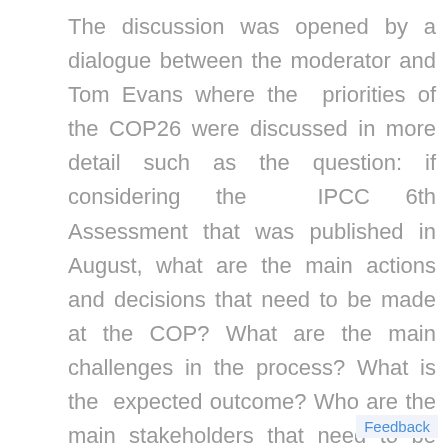The discussion was opened by a dialogue between the moderator and Tom Evans where the priorities of the COP26 were discussed in more detail such as the question: if considering the IPCC 6th Assessment that was published in August, what are the main actions and decisions that need to be made at the COP? What are the main challenges in the process? What is the expected outcome? Who are the main stakeholders that need to be addressed and committed? During the discussion the participants posed more detailed questions to the speaker and he explained that the only clear success scenario requires building the coalitic